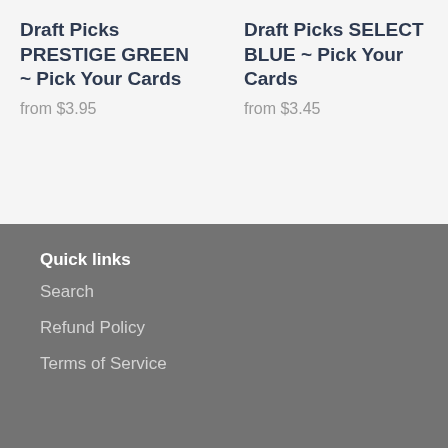Draft Picks PRESTIGE GREEN ~ Pick Your Cards
from $3.95
Draft Picks SELECT BLUE ~ Pick Your Cards
from $3.45
Quick links
Search
Refund Policy
Terms of Service